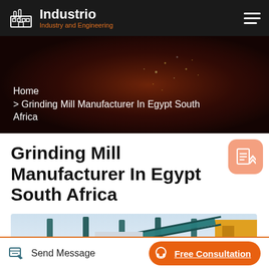Industrio — Industry and Engineering
Home
> Grinding Mill Manufacturer In Egypt South Africa
Grinding Mill Manufacturer In Egypt South Africa
[Figure (photo): Industrial grinding mill machinery with conveyor structures and equipment against a light sky background]
Send Message
Free Consultation